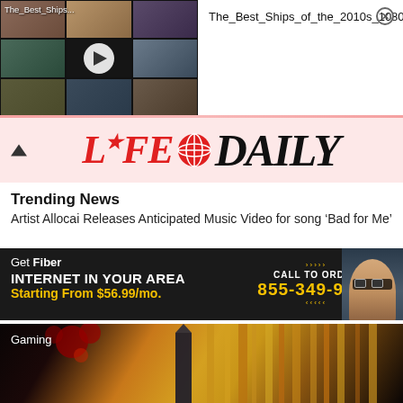[Figure (screenshot): Video thumbnail grid showing movie scenes with play button overlay, labeled 'The_Best_Ships...']
The_Best_Ships_of_the_2010s_1080p
[Figure (logo): Life Daily logo with red italic 'LIFE', globe icon, and black serif 'DAILY']
Trending News
Artist Allocai Releases Anticipated Music Video for song ‘Bad for Me’
[Figure (infographic): Fiber internet advertisement: Get Fiber INTERNET IN YOUR AREA Starting From $56.99/mo. CALL TO ORDER 855-349-9328, with man in glasses on right side]
[Figure (photo): Gaming section with casino interior showing golden chandeliers and red decorative elements, labeled 'Gaming']